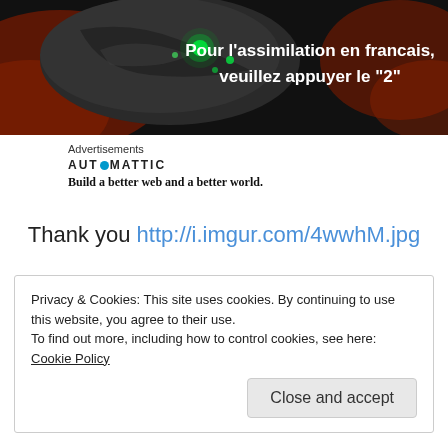[Figure (illustration): Dark space scene with a large rocky/metallic object with green glowing lights against a red nebula background. White bold text reads: Pour l'assimilation en francais, veuillez appuyer le "2"]
Advertisements
[Figure (logo): Automattic logo with blue circle O, and tagline 'Build a better web and a better world.']
Thank you http://i.imgur.com/4wwhM.jpg
Privacy & Cookies: This site uses cookies. By continuing to use this website, you agree to their use.
To find out more, including how to control cookies, see here: Cookie Policy
Close and accept